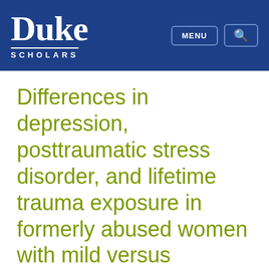Duke Scholars
Differences in depression, posttraumatic stress disorder, and lifetime trauma exposure in formerly abused women with mild versus moderate